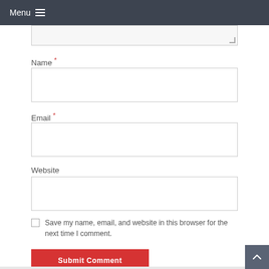Menu
Name *
Email *
Website
Save my name, email, and website in this browser for the next time I comment.
Submit Comment